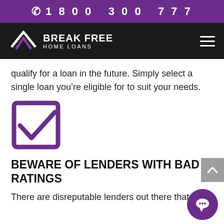1800 300 777
[Figure (logo): Break Free Home Loans logo with house/chevron icon in white and purple on black background, with hamburger menu icon]
qualify for a loan in the future. Simply select a single loan you’re eligible for to suit your needs.
[Figure (illustration): Purple checkbox icon with checkmark]
BEWARE OF LENDERS WITH BAD RATINGS
There are disreputable lenders out there that